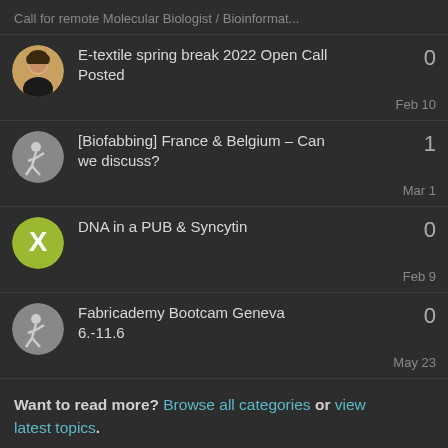Call for remote Molecular Biologist / Bioinformat...
E-textile spring break 2022 Open Call Posted — 0 — Feb 10
[Biofabbing] France & Belgium – Can we discuss? — 1 — Mar 1
DNA in a PUB & Syncytin — 0 — Feb 9
Fabricademy Bootcam Geneva 6.-11.6 — 0 — May 23
Want to read more? Browse all categories or view latest topics.